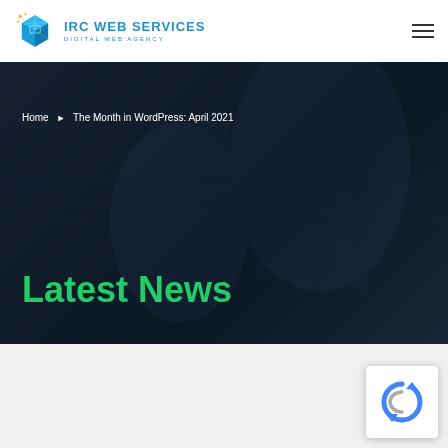IRC WEB SERVICES — DIGITAL WEB AGENCY
Home › The Month in WordPress: April 2021
Latest News
[Figure (logo): reCAPTCHA badge with blue refresh/robot icon]